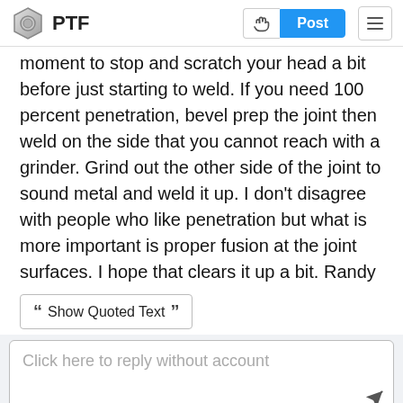PTF | Post
moment to stop and scratch your head a bit before just starting to weld. If you need 100 percent penetration, bevel prep the joint then weld on the side that you cannot reach with a grinder. Grind out the other side of the joint to sound metal and weld it up. I don't disagree with people who like penetration but what is more important is proper fusion at the joint surfaces. I hope that clears it up a bit. Randy
Show Quoted Text
Click here to reply without account
Lance  posted 17 years ago